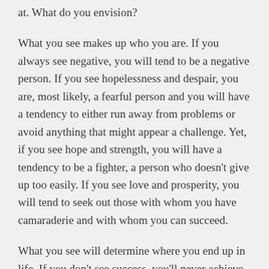at. What do you envision?
What you see makes up who you are. If you always see negative, you will tend to be a negative person. If you see hopelessness and despair, you are, most likely, a fearful person and you will have a tendency to either run away from problems or avoid anything that might appear a challenge. Yet, if you see hope and strength, you will have a tendency to be a fighter, a person who doesn't give up too easily. If you see love and prosperity, you will tend to seek out those with whom you have camaraderie and with whom you can succeed.
What you see will determine where you end up in life. If you don't see success, you'll never achieve it. If you don't see possibilities, you'll never try. If you don't see faith and integrity  in others, you'll never learn to trust and